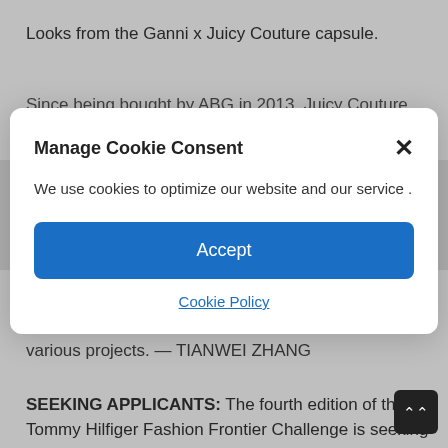Looks from the Ganni x Juicy Couture capsule.
Since being bought by ABG in 2013, Juicy Couture
[Figure (screenshot): Cookie consent modal dialog box with title 'Manage Cookie Consent', close button (×), body text 'We use cookies to optimize our website and our service .', a blue Accept button, and a 'Cookie Policy' link.]
Ganni previously worked with Levi's, Nintendo, Vestiaire Collective, Depop and Boy Smells on various projects. — TIANWEI ZHANG
SEEKING APPLICANTS: The fourth edition of the Tommy Hilfiger Fashion Frontier Challenge is seeking